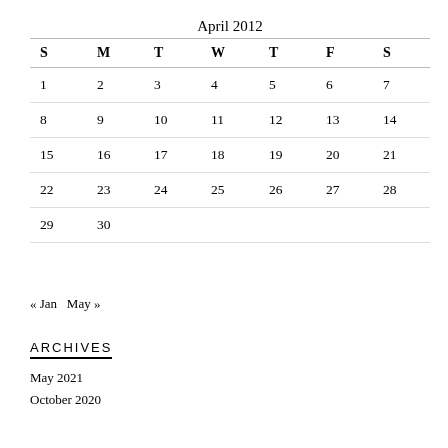| S | M | T | W | T | F | S |
| --- | --- | --- | --- | --- | --- | --- |
| 1 | 2 | 3 | 4 | 5 | 6 | 7 |
| 8 | 9 | 10 | 11 | 12 | 13 | 14 |
| 15 | 16 | 17 | 18 | 19 | 20 | 21 |
| 22 | 23 | 24 | 25 | 26 | 27 | 28 |
| 29 | 30 |  |  |  |  |  |
« Jan   May »
ARCHIVES
May 2021
October 2020